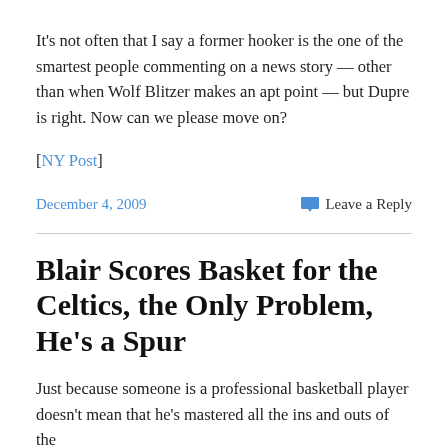It's not often that I say a former hooker is the one of the smartest people commenting on a news story — other than when Wolf Blitzer makes an apt point — but Dupre is right. Now can we please move on?
[NY Post]
December 4, 2009
Leave a Reply
Blair Scores Basket for the Celtics, the Only Problem, He's a Spur
Just because someone is a professional basketball player doesn't mean that he's mastered all the ins and outs of the